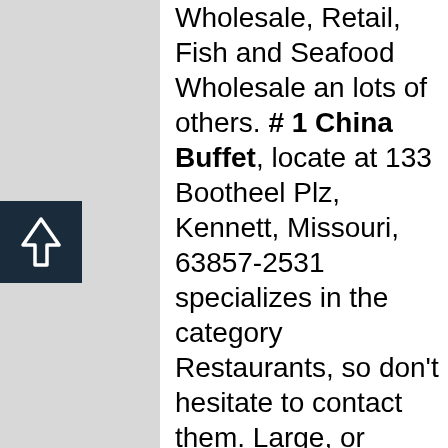Wholesale, Retail, Fish and Seafood Wholesale an lots of others. # 1 China Buffet, locate at 133 Bootheel Plz, Kennett, Missouri, 63857-2531 specializes in the category Restaurants, so don't hesitate to contact them. Large, or small, # 1 China Buffet can handle your specific